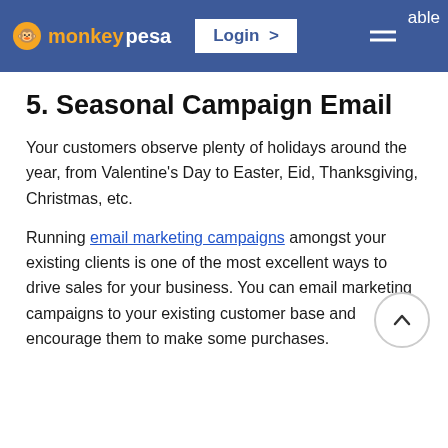monkeypesa — Login > — able
5. Seasonal Campaign Email
Your customers observe plenty of holidays around the year, from Valentine's Day to Easter, Eid, Thanksgiving, Christmas, etc.
Running email marketing campaigns amongst your existing clients is one of the most excellent ways to drive sales for your business. You can email marketing campaigns to your existing customer base and encourage them to make some purchases.